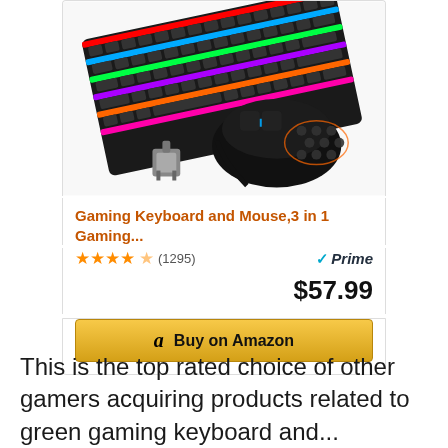[Figure (photo): RGB gaming keyboard with rainbow backlit keys and a gaming mouse with honeycomb design and RGB lighting, also showing a mechanical key switch]
Gaming Keyboard and Mouse,3 in 1 Gaming...
★★★★✩ (1295)  ✓Prime  $57.99
Buy on Amazon
This is the top rated choice of other gamers acquiring products related to green gaming keyboard and...